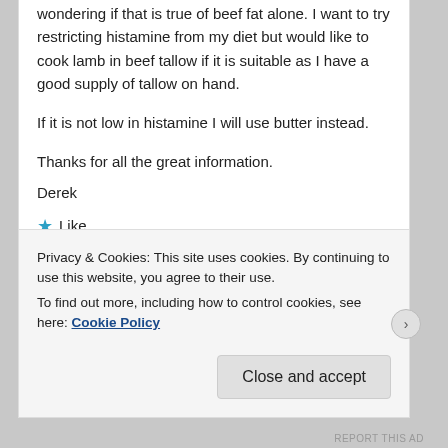wondering if that is true of beef fat alone. I want to try restricting histamine from my diet but would like to cook lamb in beef tallow if it is suitable as I have a good supply of tallow on hand.
If it is not low in histamine I will use butter instead.
Thanks for all the great information.
Derek
★ Like
Reply ↓
Privacy & Cookies: This site uses cookies. By continuing to use this website, you agree to their use.
To find out more, including how to control cookies, see here: Cookie Policy
Close and accept
REPORT THIS AD